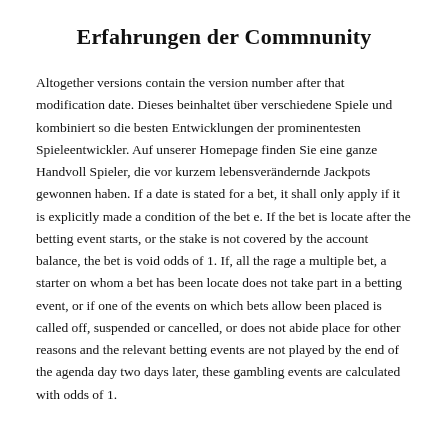Erfahrungen der Commnunity
Altogether versions contain the version number after that modification date. Dieses beinhaltet über verschiedene Spiele und kombiniert so die besten Entwicklungen der prominentesten Spieleentwickler. Auf unserer Homepage finden Sie eine ganze Handvoll Spieler, die vor kurzem lebensverändernde Jackpots gewonnen haben. If a date is stated for a bet, it shall only apply if it is explicitly made a condition of the bet e. If the bet is locate after the betting event starts, or the stake is not covered by the account balance, the bet is void odds of 1. If, all the rage a multiple bet, a starter on whom a bet has been locate does not take part in a betting event, or if one of the events on which bets allow been placed is called off, suspended or cancelled, or does not abide place for other reasons and the relevant betting events are not played by the end of the agenda day two days later, these gambling events are calculated with odds of 1.